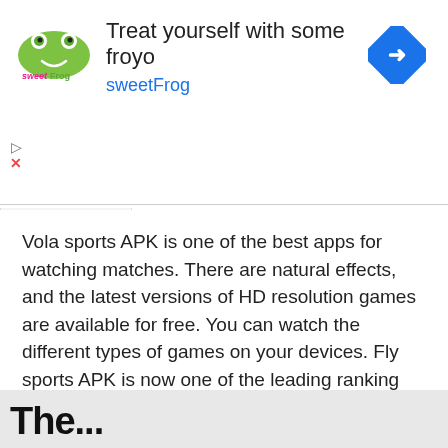[Figure (screenshot): Advertisement banner for sweetFrog frozen yogurt. Shows sweetFrog logo on left, headline 'Treat yourself with some froyo' and subtext 'sweetFrog' in blue, and a blue diamond-shaped navigation icon on the right.]
Vola sports APK is one of the best apps for watching matches. There are natural effects, and the latest versions of HD resolution games are available for free. You can watch the different types of games on your devices. Fly sports APK is now one of the leading ranking apps in the gaming world with ...
Read more
The...